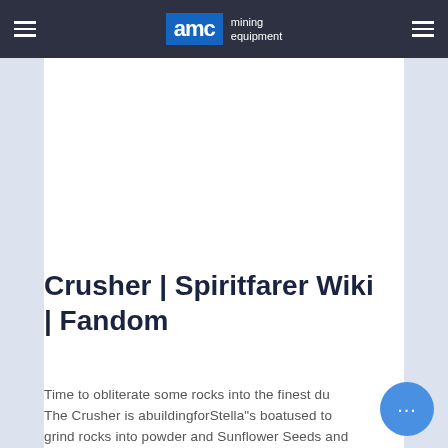AMC mining equipment
[Figure (other): White content card placeholder area on a light blue-grey background]
Crusher | Spiritfarer Wiki | Fandom
Time to obliterate some rocks into the finest du... The Crusher is abuildingforStella"s boatused to grind rocks into powder and Sunflower Seeds and